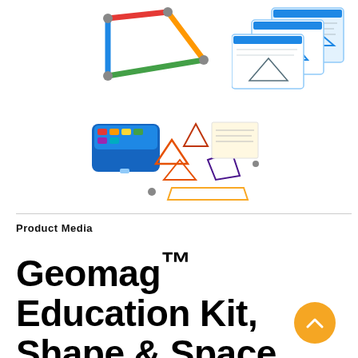[Figure (photo): Colorful magnetic sticks forming a quadrilateral shape (Geomag product) on top, with activity cards shown to the right]
[Figure (photo): Geomag Education Kit box with magnetic pieces and activity sheets spread around it]
Product Media
Geomag™ Education Kit, Shape & Space Geometry Lab